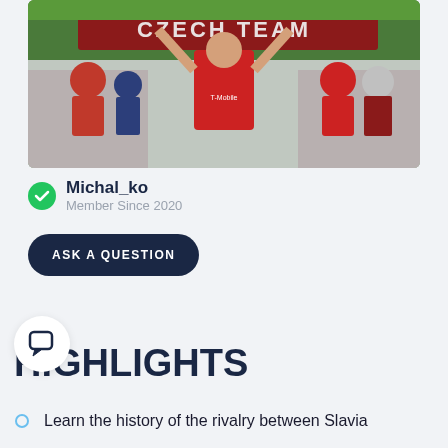[Figure (photo): A fan at a football stadium holding a 'Czech Team' scarf above his head, wearing a red T-Mobile jersey. Crowded stadium stands in background.]
Michal_ko
Member Since 2020
ASK A QUESTION
[Figure (illustration): Chat bubble icon in a white circle]
HIGHLIGHTS
Learn the history of the rivalry between Slavia